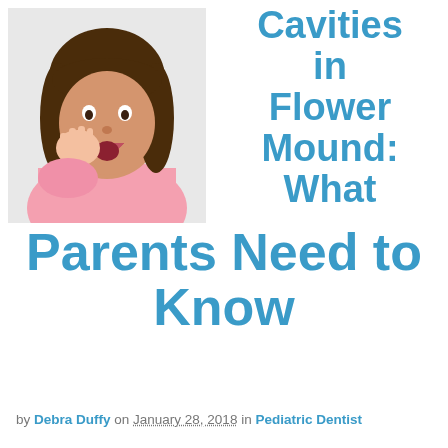[Figure (photo): Young girl in a pink top holding her cheek/jaw with her hand, mouth open, suggesting tooth pain. White background.]
Cavities in Flower Mound: What Parents Need to Know
by Debra Duffy on January 28, 2018 in Pediatric Dentist